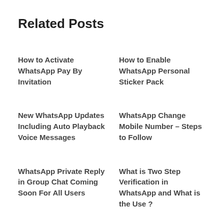Related Posts
How to Activate WhatsApp Pay By Invitation
How to Enable WhatsApp Personal Sticker Pack
New WhatsApp Updates Including Auto Playback Voice Messages
WhatsApp Change Mobile Number – Steps to Follow
WhatsApp Private Reply in Group Chat Coming Soon For All Users
What is Two Step Verification in WhatsApp and What is the Use ?